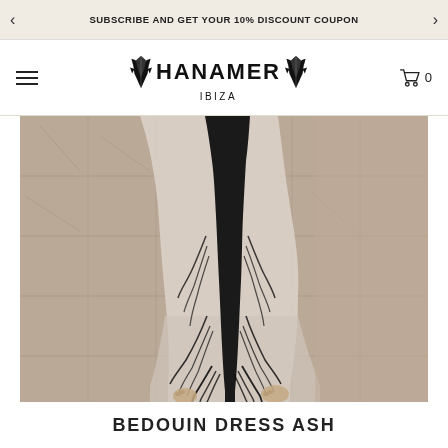SUBSCRIBE AND GET YOUR 10% DISCOUNT COUPON
[Figure (logo): Hanamer Ibiza brand logo with beetle/scarab emblems on either side of the HANAMER text, IBIZA below]
[Figure (photo): Fashion photo showing lower body of model wearing a long light beige/ash colored dress with dark black fringe/feather trim down the center, walking on stone paving tiles]
BEDOUIN DRESS ASH